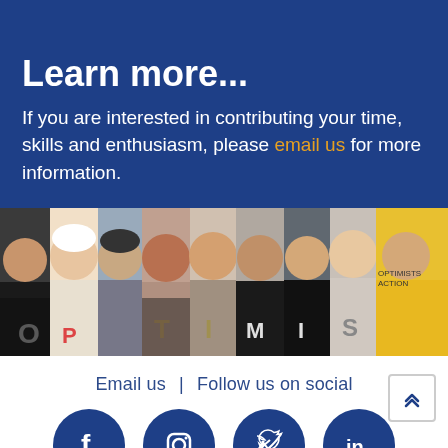Learn more...
If you are interested in contributing your time, skills and enthusiasm, please email us for more information.
[Figure (photo): Group photo strip showing multiple people holding letters spelling OPTIMISTS, each person holding one letter]
Email us | Follow us on social
[Figure (infographic): Social media icons: Facebook, Instagram, Twitter, LinkedIn as dark blue circles with white icons]